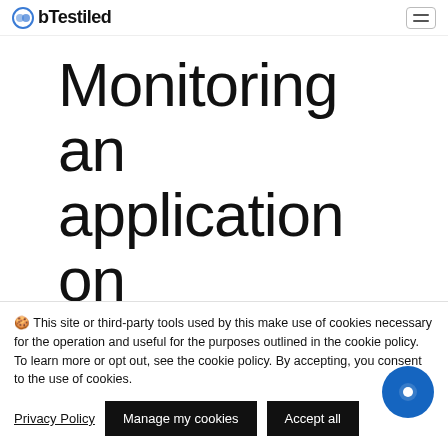bTestiled (logo)
Monitoring an application on
🍪 This site or third-party tools used by this make use of cookies necessary for the operation and useful for the purposes outlined in the cookie policy. To learn more or opt out, see the cookie policy. By accepting, you consent to the use of cookies.
Privacy Policy | Manage my cookies | Accept all